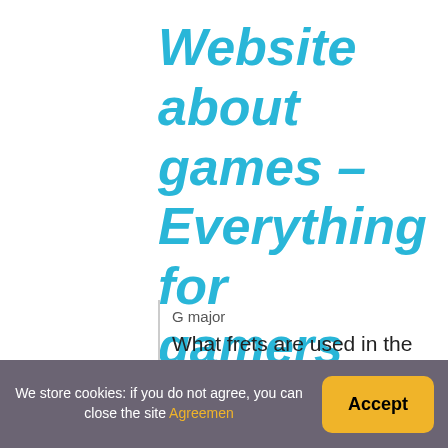Website about games – Everything for gamers
G major
What frets are used in the opening riff of
Start out with your index finger on the 7th fret of the A and A strings.
We store cookies: if you do not agree, you can close the site Agreement